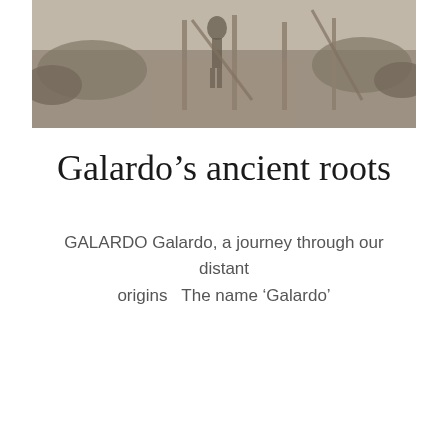[Figure (photo): Black and white historical photograph showing people working outdoors, possibly at an archaeological or agricultural site with wooden stakes or posts visible.]
Galardo’s ancient roots
GALARDO Galardo, a journey through our distant origins   The name 'Galardo'